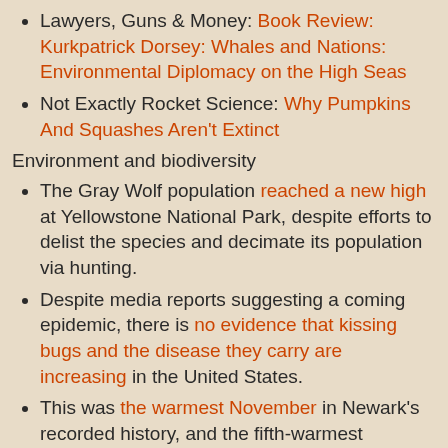Lawyers, Guns & Money: Book Review: Kurkpatrick Dorsey: Whales and Nations: Environmental Diplomacy on the High Seas
Not Exactly Rocket Science: Why Pumpkins And Squashes Aren't Extinct
Environment and biodiversity
The Gray Wolf population reached a new high at Yellowstone National Park, despite efforts to delist the species and decimate its population via hunting.
Despite media reports suggesting a coming epidemic, there is no evidence that kissing bugs and the disease they carry are increasing in the United States.
This was the warmest November in Newark's recorded history, and the fifth-warmest November recorded in New Jersey.
While December in much of the U.S. will be warmer than usual, it will still be cold, and some